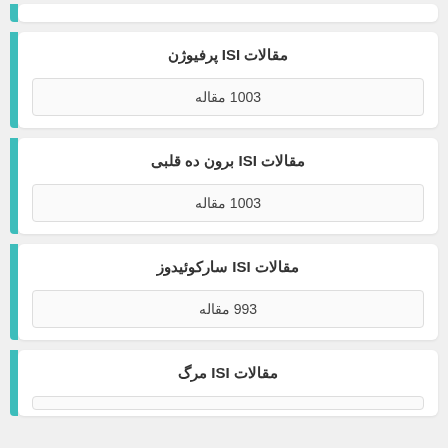مقالات ISI پرفیوژن
1003 مقاله
مقالات ISI برون ده قلبی
1003 مقاله
مقالات ISI سارکوئیدوز
993 مقاله
مقالات ISI مرگ